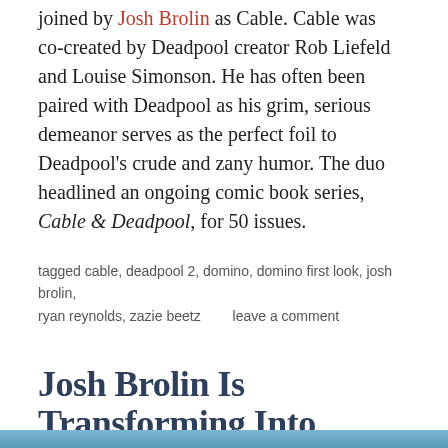joined by Josh Brolin as Cable. Cable was co-created by Deadpool creator Rob Liefeld and Louise Simonson. He has often been paired with Deadpool as his grim, serious demeanor serves as the perfect foil to Deadpool's crude and zany humor. The duo headlined an ongoing comic book series, Cable & Deadpool, for 50 issues.
tagged cable, deadpool 2, domino, domino first look, josh brolin, ryan reynolds, zazie beetz     leave a comment
Josh Brolin Is Transforming Into Cable For Deadpool 2
june 29, 2017, posted in entertainment
[Figure (photo): Partial image strip at the bottom of the page]